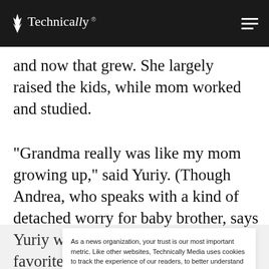Technically
and now that grew. She largely raised the kids, while mom worked and studied.
“Grandma really was like my mom growing up,” said Yuriy. (Though Andrea, who speaks with a kind of detached worry for baby brother, says Yuriy was always their mother’s favorite.) So he was
As a news organization, your trust is our most important metric. Like other websites, Technically Media uses cookies to track the experience of our readers, to better understand usage patterns and content preferences. We will not sell or rent your personal information to third parties. For more information or to contact us, read our entire Ethics & Privacy Policy.
Close